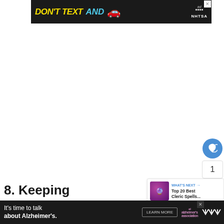[Figure (screenshot): Top banner advertisement for NHTSA 'Don't Text and Drive' campaign with yellow and cyan text on dark background, red car emoji, and ad badge]
[Figure (screenshot): White empty content area with sidebar social buttons (heart/like button in blue, count showing 1, share button) and a 'What's Next' panel showing 'Top 20 Best Cleric Spells...' with a purple thumbnail]
8. Keeping
[Figure (screenshot): Bottom banner advertisement for Alzheimer's Association: 'It's time to talk about Alzheimer's.' with Learn More button and association logo on dark background]